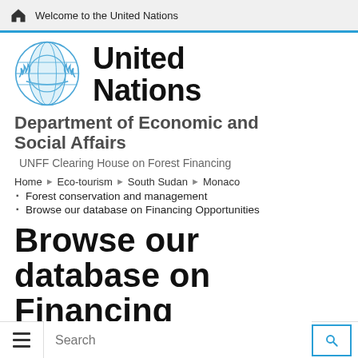Welcome to the United Nations
[Figure (logo): United Nations emblem logo in blue — globe flanked by olive branches]
United Nations
Department of Economic and Social Affairs
UNFF Clearing House on Forest Financing
Home ▸ Eco-tourism ▸ South Sudan ▸ Monaco
Forest conservation and management
Browse our database on Financing Opportunities
Browse our database on Financing Opportunities